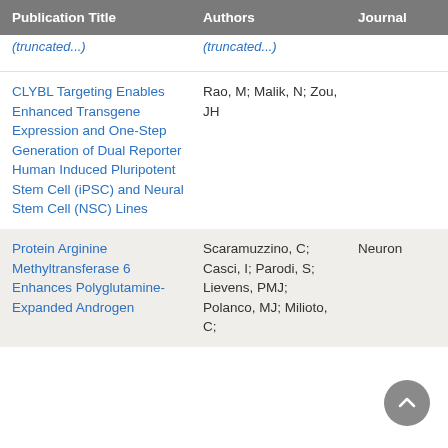| Publication Title | Authors | Journal |
| --- | --- | --- |
| (truncated) | (truncated) |  |
| CLYBL Targeting Enables Enhanced Transgene Expression and One-Step Generation of Dual Reporter Human Induced Pluripotent Stem Cell (iPSC) and Neural Stem Cell (NSC) Lines | Rao, M; Malik, N; Zou, JH |  |
| Protein Arginine Methyltransferase 6 Enhances Polyglutamine-Expanded Androgen Receptor... | Scaramuzzino, C; Casci, I; Parodi, S; Lievens, PMJ; Polanco, MJ; Milioto, C; Chivet, M... | Neuron |